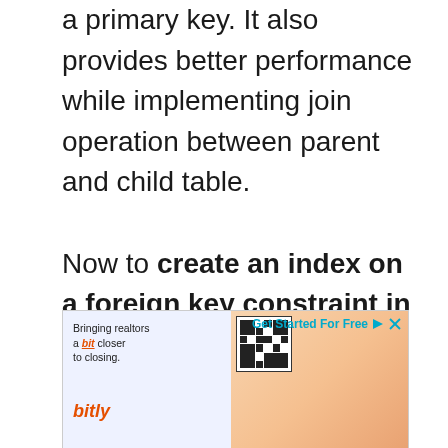a primary key. It also provides better performance while implementing join operation between parent and child table.

Now to create an index on a foreign key constraint in SQL Server, we can follow the below-given syntax.
[Figure (other): Advertisement banner for Bitly service showing 'Bringing realtors a bit closer to closing.' with Bitly logo and QR code. Header reads 'Get Started For Free'.]